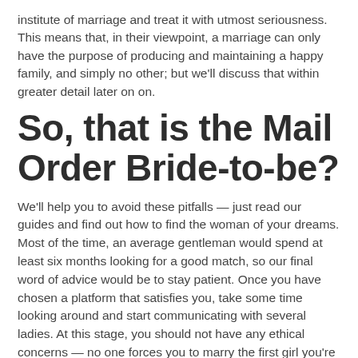institute of marriage and treat it with utmost seriousness. This means that, in their viewpoint, a marriage can only have the purpose of producing and maintaining a happy family, and simply no other; but we'll discuss that within greater detail later on on.
So, that is the Mail Order Bride-to-be?
We'll help you to avoid these pitfalls — just read our guides and find out how to find the woman of your dreams. Most of the time, an average gentleman would spend at least six months looking for a good match, so our final word of advice would be to stay patient. Once you have chosen a platform that satisfies you, take some time looking around and start communicating with several ladies. At this stage, you should not have any ethical concerns — no one forces you to marry the first girl you're chatting with.